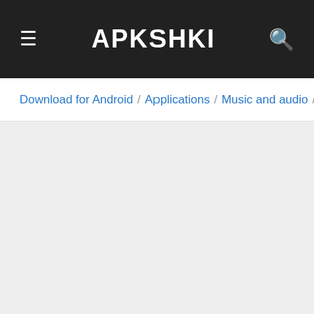APKSHKI
Download for Android / Applications / Music and audio / MortPl...